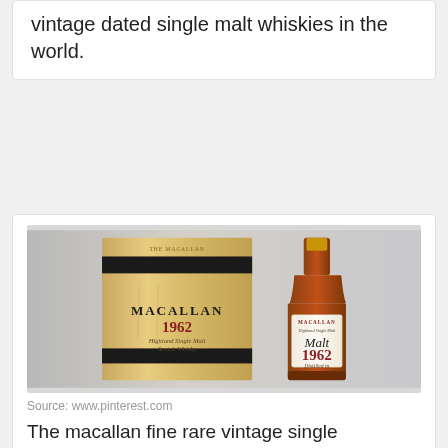vintage dated single malt whiskies in the world.
[Figure (photo): Macallan 1962 Highland Single Malt Scotch Whisky bottle next to its wooden presentation box with black bands, both showing the 1962 vintage label.]
Source: www.pinterest.com
The macallan fine rare vintage single